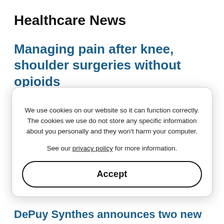Healthcare News
Managing pain after knee, shoulder surgeries without opioids
Posted on: 17 April, 2022
A pain management regimen without opioids offered the same pain relief as common prescription opioids, according to two recent studies of common sports surgeries
Read more
We use cookies on our website so it can function correctly. The cookies we use do not store any specific information about you personally and they won't harm your computer.

See our privacy policy for more information.
Accept
DePuy Synthes announces two new